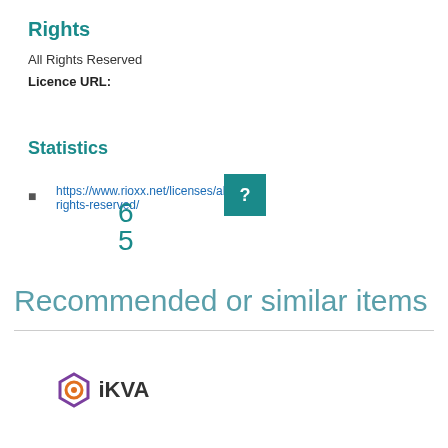Rights
All Rights Reserved
Licence URL:
https://www.rioxx.net/licenses/all-rights-reserved/
Statistics
6
5
[Figure (other): Teal question mark box indicating unknown/hidden statistic]
Recommended or similar items
[Figure (logo): IKVA logo with hexagon icon and IKVA text]
[Figure (other): Dropdown selector widget with chevron and teal button]
[Figure (table-as-image): Small 3-column table cells at bottom of page]